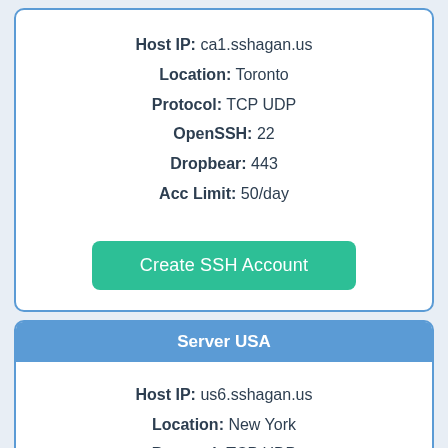Host IP: ca1.sshagan.us
Location: Toronto
Protocol: TCP UDP
OpenSSH: 22
Dropbear: 443
Acc Limit: 50/day
Create SSH Account
Server USA
Host IP: us6.sshagan.us
Location: New York
Protocol: TCP UDP